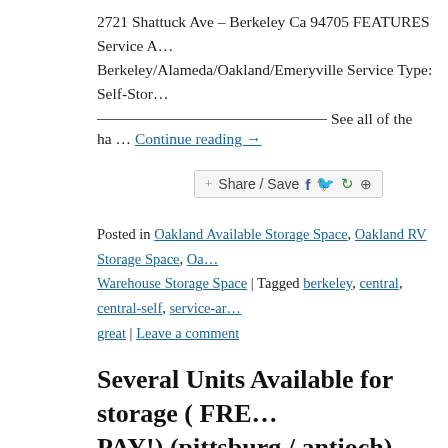2721 Shattuck Ave – Berkeley Ca 94705 FEATURES Service A… Berkeley/Alameda/Oakland/Emeryville Service Type: Self-Stor…
See all of the
ha … Continue reading →
[Figure (other): Share/Save social sharing button with Facebook, Twitter, and other icons]
Posted in Oakland Available Storage Space, Oakland RV Storage Space, Oa… Warehouse Storage Space | Tagged berkeley, central, central-self, service-ar… great | Leave a comment
Several Units Available for storage ( FRE… PAY!) (pittsburg / antioch)
Posted on June 21, 2018 by Warehouse Space
Contact Information Central Self Storage *** Reclaim your Spa… st Antioch Ca 94509 FEATURES Service Area: Pittsburg/Antio… Storage DESCRIPTION Call us or stop by for more information…